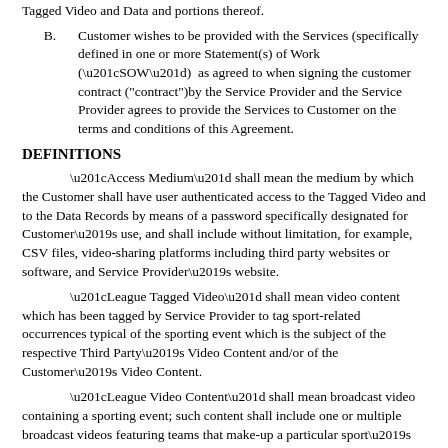Tagged Video and Data and portions thereof.
B. Customer wishes to be provided with the Services (specifically defined in one or more Statement(s) of Work (“SOW”)  as agreed to when signing the customer contract ("contract")by the Service Provider and the Service Provider agrees to provide the Services to Customer on the terms and conditions of this Agreement.
DEFINITIONS
“Access Medium” shall mean the medium by which the Customer shall have user authenticated access to the Tagged Video and to the Data Records by means of a password specifically designated for Customer’s use, and shall include without limitation, for example, CSV files, video-sharing platforms including third party websites or software, and Service Provider’s website.
“League Tagged Video” shall mean video content which has been tagged by Service Provider to tag sport-related occurrences typical of the sporting event which is the subject of the respective Third Party’s Video Content and/or of the Customer’s Video Content.
“League Video Content” shall mean broadcast video containing a sporting event; such content shall include one or multiple broadcast videos featuring teams that make-up a particular sport’s league.
“League Electronic Stored Information” (“League ESI”) shall include and be limited to League Video Content which has been electronically stored on Service Provider’s owned or leased electronic